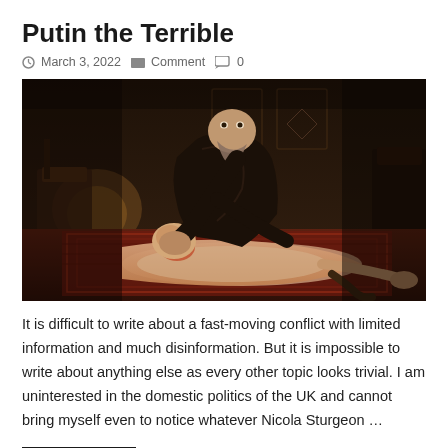Putin the Terrible
March 3, 2022   Comment   0
[Figure (photo): A classical oil painting depicting Ivan the Terrible holding his dying son, dark dramatic scene with figures on a patterned carpet floor, deep brown and red tones.]
It is difficult to write about a fast-moving conflict with limited information and much disinformation. But it is impossible to write about anything else as every other topic looks trivial. I am uninterested in the domestic politics of the UK and cannot bring myself even to notice whatever Nicola Sturgeon …
Read More »